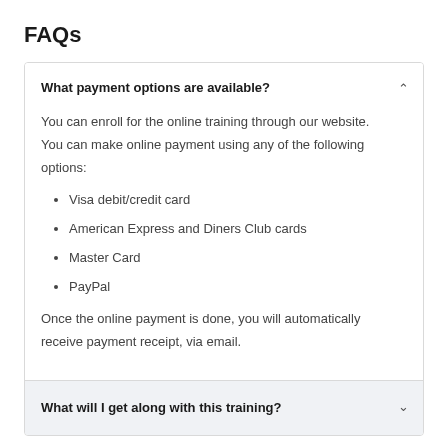FAQs
What payment options are available?
You can enroll for the online training through our website. You can make online payment using any of the following options:
Visa debit/credit card
American Express and Diners Club cards
Master Card
PayPal
Once the online payment is done, you will automatically receive payment receipt, via email.
What will I get along with this training?